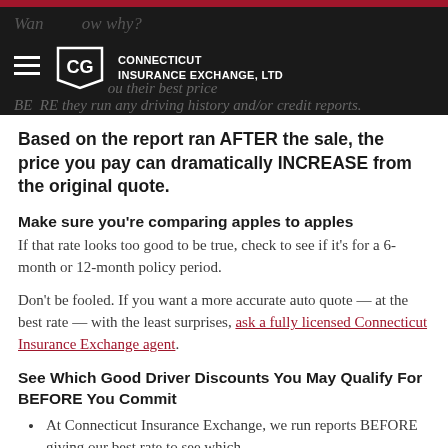Want to know why? Connecticut Insurance Exchange, LTD — you their best price BEFORE they run any driving history and/or credit reports.
Based on the report ran AFTER the sale, the price you pay can dramatically INCREASE from the original quote.
Make sure you're comparing apples to apples
If that rate looks too good to be true, check to see if it's for a 6-month or 12-month policy period.
Don't be fooled. If you want a more accurate auto quote — at the best rate — with the least surprises, ask a fully licensed Connecticut Insurance Exchange agent.
See Which Good Driver Discounts You May Qualify For BEFORE You Commit
At Connecticut Insurance Exchange, we run reports BEFORE giving our best rate to see which